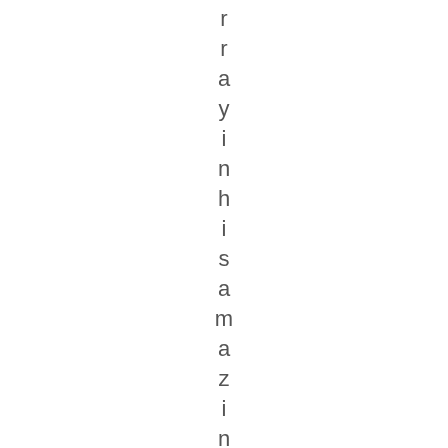r r a y i n h i s a m a z i n g s u